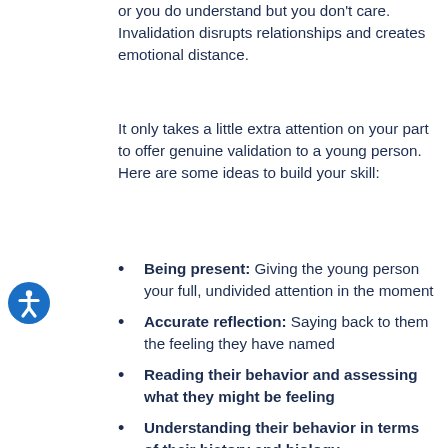or you do understand but you don't care. Invalidation disrupts relationships and creates emotional distance.
It only takes a little extra attention on your part to offer genuine validation to a young person. Here are some ideas to build your skill:
Being present: Giving the young person your full, undivided attention in the moment
Accurate reflection: Saying back to them the feeling they have named
Reading their behavior and assessing what they might be feeling
Understanding their behavior in terms of their history and biology